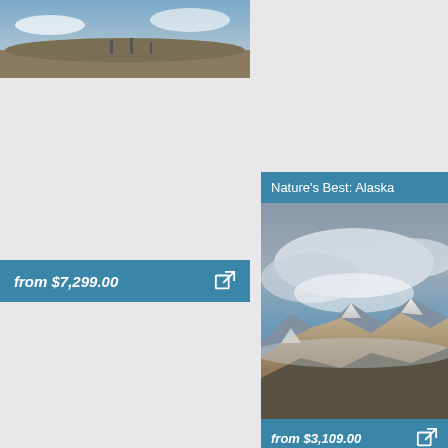[Figure (photo): Landscape photo showing a distant landmass or island under a blue sky, partial view at top of page]
from $7,299.00
[Figure (photo): Nature's Best: Alaska card with header and mountain/cloud landscape photo]
from $3,109.00